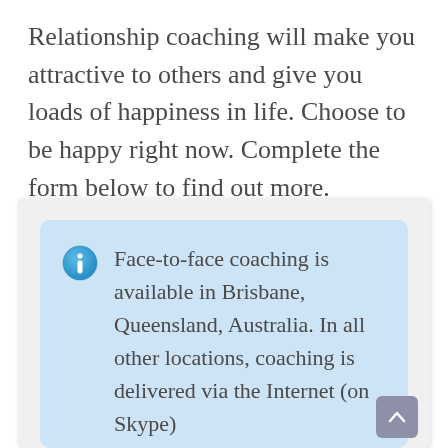Relationship coaching will make you attractive to others and give you loads of happiness in life. Choose to be happy right now. Complete the form below to find out more.
Face-to-face coaching is available in Brisbane, Queensland, Australia. In all other locations, coaching is delivered via the Internet (on Skype)